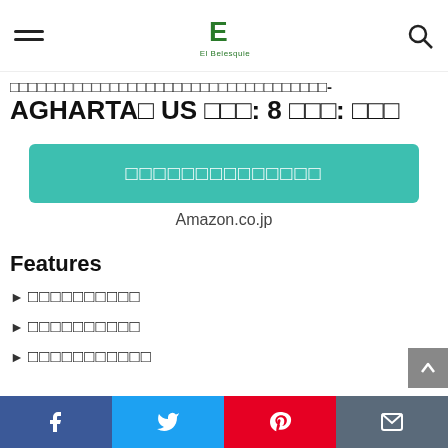El Belesquie (logo) navigation bar with hamburger menu and search icon
□□□□□□□□□□□□□□□□□□□□□□□□□□□□□□□□□□□□- AGHARTA□ US □□□: 8 □□□: □□□
[Figure (other): Teal/green CTA button with Japanese text (toasted boxes) label]
Amazon.co.jp
Features
□□□□□□□□□□ (boxed Japanese characters)
□□□□□□□□□□ (boxed Japanese characters)
□□□□□□□□□□□ (boxed Japanese characters)
Social share bar: Facebook, Twitter, Pinterest, Email